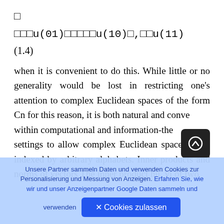□
□□□u(01)□□□□□u(10)□,□□u(11)
(1.4)
when it is convenient to do this. While little or no generality would be lost in restricting one's attention to complex Euclidean spaces of the form Cn for this reason, it is both natural and convenient within computational and information-theoretic settings to allow complex Euclidean spaces to be indexed by arbitrary alphabets. Inner products and norms of vectors The inner product hu, vi of two